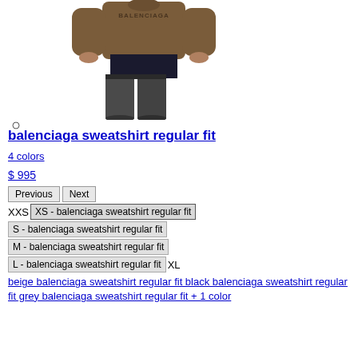[Figure (photo): Back view of a person wearing a brown Balenciaga sweatshirt with dark jeans]
balenciaga sweatshirt regular fit
4 colors
$ 995
Previous | Next
XXS | XS - balenciaga sweatshirt regular fit
S - balenciaga sweatshirt regular fit
M - balenciaga sweatshirt regular fit
L - balenciaga sweatshirt regular fit | XL
beige balenciaga sweatshirt regular fit black balenciaga sweatshirt regular fit grey balenciaga sweatshirt regular fit + 1 color